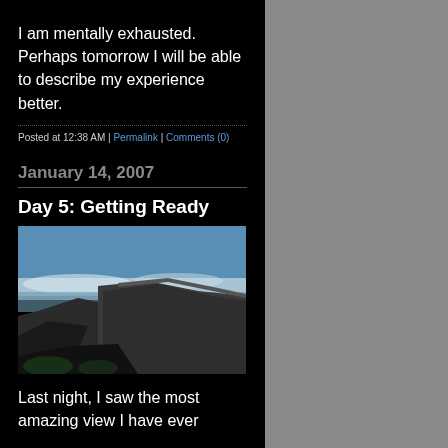I am mentally exhausted. Perhaps tomorrow I will be able to describe my experience better.
Posted at 12:38 AM | Permalink | Comments (0)
January 14, 2007
Day 5: Getting Ready
[Figure (photo): Mountain landscape with clouds and ocean view, taken from a high vantage point showing rocky cliffs and coastline]
Last night, I saw the most amazing view I have ever